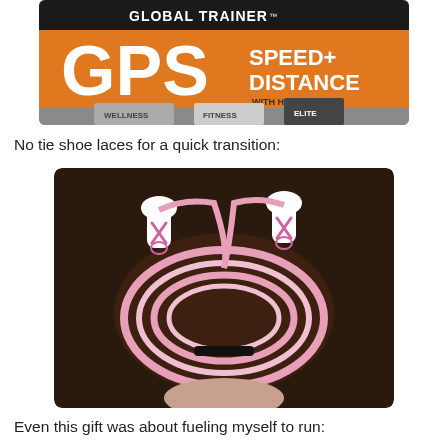[Figure (photo): Partial photo of a GPS Global Trainer product box with orange background, showing 'GLOBAL TRAINER' text, 'GPS' in large white letters, 'SPEED+ DISTANCE with HEART RATE' text, and tabs labeled WELLNESS, FITNESS, ELITE at the bottom.]
No tie shoe laces for a quick transition:
[Figure (photo): Photo of pink and white elastic no-tie shoe laces coiled together and held in a hand, against a dark background. Two white anchor clips are visible at the top.]
Even this gift was about fueling myself to run: